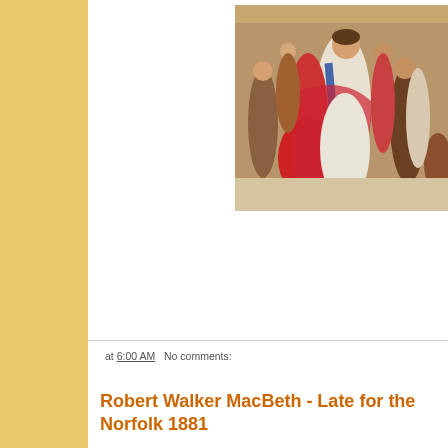[Figure (illustration): A painting showing elegantly dressed historical figures in a courtly scene with rich red and white garments]
at 6:00 AM   No comments:
Robert Walker MacBeth - Late for the Norfolk 1881
[Figure (illustration): A partial view of another painting showing a warm-toned interior or landscape scene]